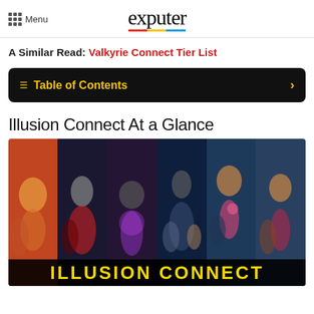Menu | exputer
A Similar Read: Valkyrie Connect Tier List
Table of Contents
Illusion Connect At a Glance
[Figure (illustration): Illusion Connect game promotional image showing multiple anime-style characters in six panel sections with yellow ILLUSION CONNECT title banner at bottom]
ILLUSION CONNECT